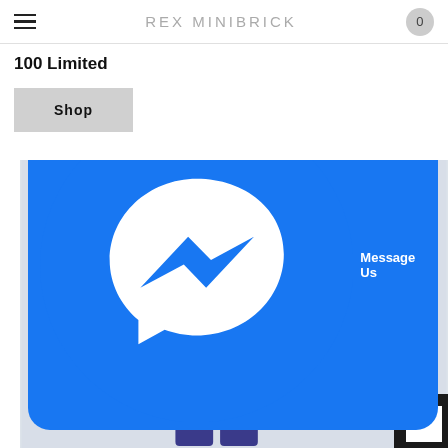REX MINIBRICK
100 Limited
Shop
[Figure (photo): A LEGO-style minifigure wearing a silver winged helmet with gold lightning bolt wings, dressed in a dark red suit with a gold lightning bolt emblem on the chest, photographed against a light blue-grey background.]
Message Us